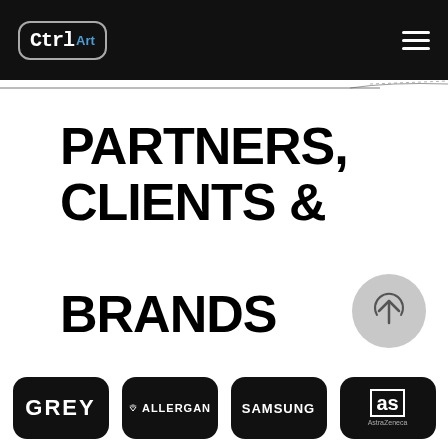CtrlArt
PARTNERS, CLIENTS & BRANDS
[Figure (logo): Scroll-to-top circular arrow button]
[Figure (logo): Bottom logos bar: GREY, ALLERGAN, SAMSUNG, AS (AstraZeneca)]